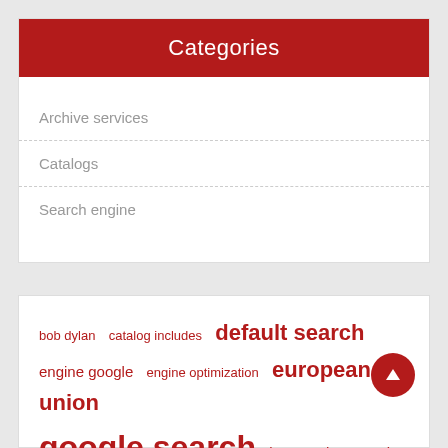Categories
Archive services
Catalogs
Search engine
bob dylan  catalog includes  default search  engine google  engine optimization  european union  google search  los angeles  music publishing